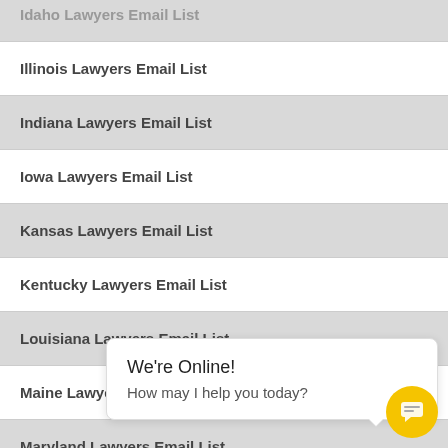Idaho Lawyers Email List
Illinois Lawyers Email List
Indiana Lawyers Email List
Iowa Lawyers Email List
Kansas Lawyers Email List
Kentucky Lawyers Email List
Louisiana Lawyers Email List
Maine Lawyers Email List
Maryland Lawyers Email List
Massachusetts Lawyers Email List